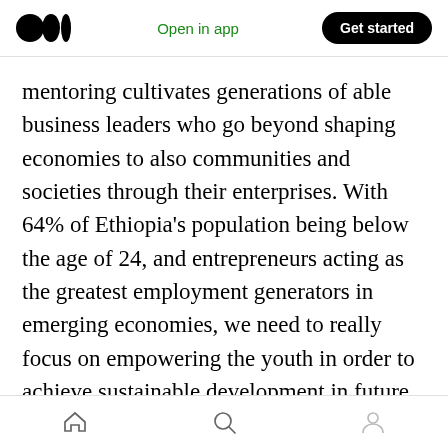Open in app | Get started
mentoring cultivates generations of able business leaders who go beyond shaping economies to also communities and societies through their enterprises. With 64% of Ethiopia's population being below the age of 24, and entrepreneurs acting as the greatest employment generators in emerging economies, we need to really focus on empowering the youth in order to achieve sustainable development in future. Business skills training, advice and investment alone will not achieve it. We are so proud to see these young blueMoon innovators
Home | Search | Profile